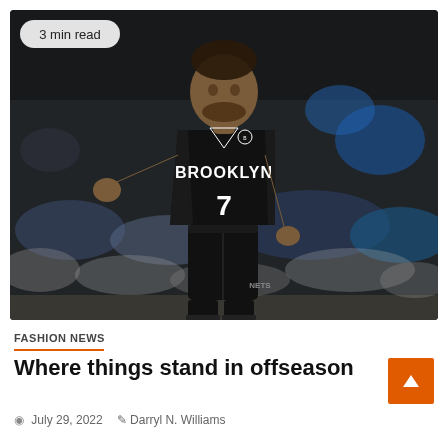[Figure (photo): Basketball player wearing Brooklyn Nets #7 jersey (Kevin Durant) on court, crowd in background, dark arena setting]
FASHION NEWS
Where things stand in offseason
July 29, 2022  Darryl N. Williams